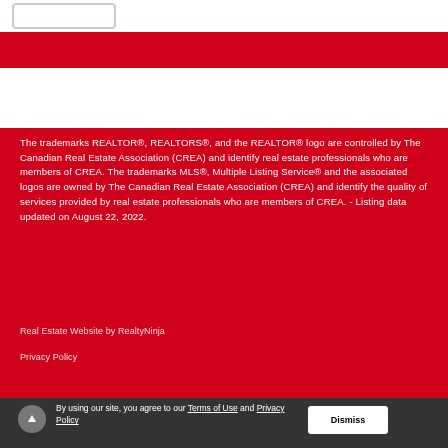[Figure (screenshot): Top white navigation bar with a button/input element]
The trademarks REALTOR®, REALTORS®, and the REALTOR® logo are controlled by The Canadian Real Estate Association (CREA) and identify real estate professionals who are members of CREA. The trademarks MLS®, Multiple Listing Service® and the associated logos are owned by The Canadian Real Estate Association (CREA) and identify the quality of services provided by real estate professionals who are members of CREA. - Listing data updated on August 22, 2022.
Real Estate Website by RealtyNinja
Privacy Policy
By using our site, you agree to our Terms of Use and Privacy Policy   Dismiss